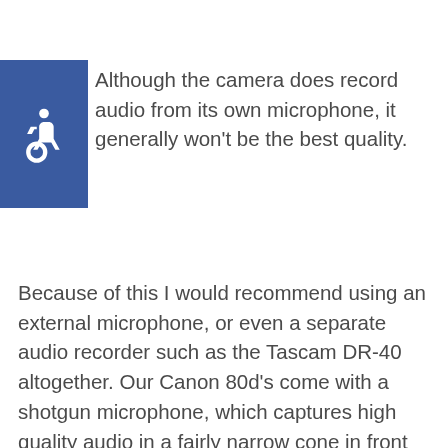[Figure (illustration): Blue accessibility icon (wheelchair symbol) in a blue square on the left side of the page]
Although the camera does record audio from its own microphone, it generally won't be the best quality.
Because of this I would recommend using an external microphone, or even a separate audio recorder such as the Tascam DR-40 altogether. Our Canon 80d's come with a shotgun microphone, which captures high quality audio in a fairly narrow cone in front of it, making it quite versatile and good for targeting certain things. However, for situations such as interviewing someone outside, the microphone would pic up everything from the interviewee to anything behind. This could mean if you are filming someone talk with a buy road behind them...